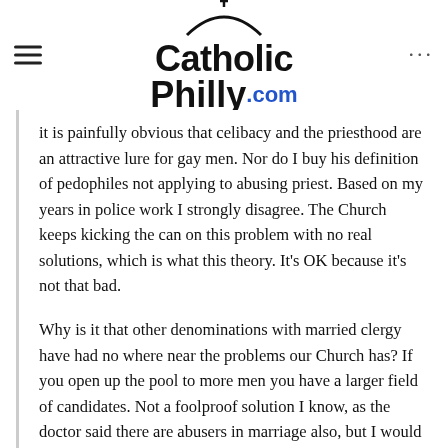CatholicPhilly.com
it is painfully obvious that celibacy and the priesthood are an attractive lure for gay men. Nor do I buy his definition of pedophiles not applying to abusing priest. Based on my years in police work I strongly disagree. The Church keeps kicking the can on this problem with no real solutions, which is what this theory. It’s OK because it’s not that bad.
Why is it that other denominations with married clergy have had no where near the problems our Church has? If you open up the pool to more men you have a larger field of candidates. Not a foolproof solution I know, as the doctor said there are abusers in marriage also, but I would think not as much.